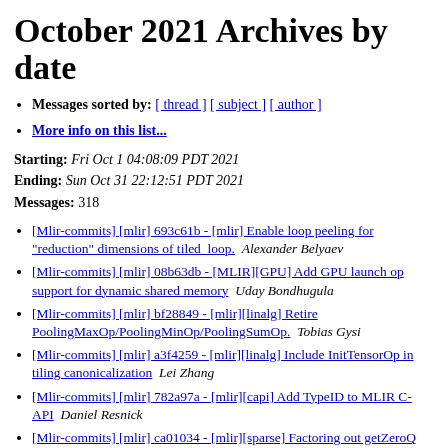October 2021 Archives by date
Messages sorted by: [ thread ] [ subject ] [ author ]
More info on this list...
Starting: Fri Oct 1 04:08:09 PDT 2021
Ending: Sun Oct 31 22:12:51 PDT 2021
Messages: 318
[Mlir-commits] [mlir] 693c61b - [mlir] Enable loop peeling for "reduction" dimensions of tiled_loop.   Alexander Belyaev
[Mlir-commits] [mlir] 08b63db - [MLIR][GPU] Add GPU launch op support for dynamic shared memory   Uday Bondhugula
[Mlir-commits] [mlir] bf28849 - [mlir][linalg] Retire PoolingMaxOp/PoolingMinOp/PoolingSumOp.   Tobias Gysi
[Mlir-commits] [mlir] a3f4259 - [mlir][linalg] Include InitTensorOp in tiling canonicalization   Lei Zhang
[Mlir-commits] [mlir] 782a97a - [mlir][capi] Add TypeID to MLIR C-API   Daniel Resnick
[Mlir-commits] [mlir] ca01034 - [mlir][sparse] Factoring out getZeroQ and avoiding unnecessary Type params   wren